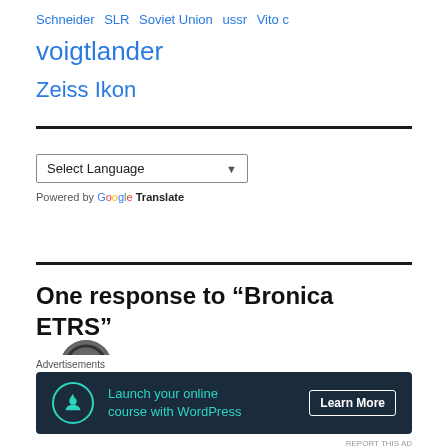Schneider  SLR  Soviet Union  ussr  Vito c  voigtlander
Zeiss Ikon
Select Language
Powered by Google Translate
One response to “Bronica ETRS”
[Figure (other): User avatar circle thumbnail showing a camera lens]
Advertisements
[Figure (other): Advertisement banner: Launch your online course with WordPress – Learn More]